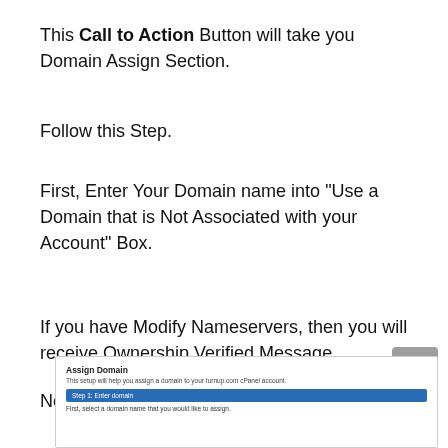This Call to Action Button will take you Domain Assign Section.
Follow this Step.
First, Enter Your Domain name into “Use a Domain that is Not Associated with your Account” Box.
If you have Modify Nameservers, then you will receive Ownership Verified Message.
Now, Select Assign Domain.
[Figure (screenshot): Screenshot of Assign Domain interface showing a step bar labeled 'Step 1: Enter domain' in blue, with a subtitle 'First, select a domain name that you would like to assign.']